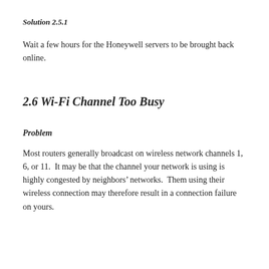Solution 2.5.1
Wait a few hours for the Honeywell servers to be brought back online.
2.6 Wi-Fi Channel Too Busy
Problem
Most routers generally broadcast on wireless network channels 1, 6, or 11.  It may be that the channel your network is using is highly congested by neighbors’ networks.  Them using their wireless connection may therefore result in a connection failure on yours.